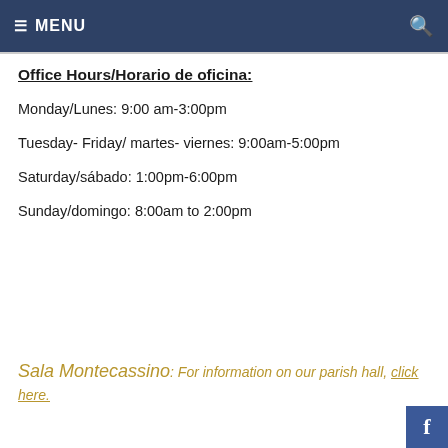≡ MENU
Office Hours/Horario de oficina:
Monday/Lunes: 9:00 am-3:00pm
Tuesday- Friday/ martes- viernes: 9:00am-5:00pm
Saturday/sábado: 1:00pm-6:00pm
Sunday/domingo: 8:00am to 2:00pm
Sala Montecassino: For information on our parish hall, click here.